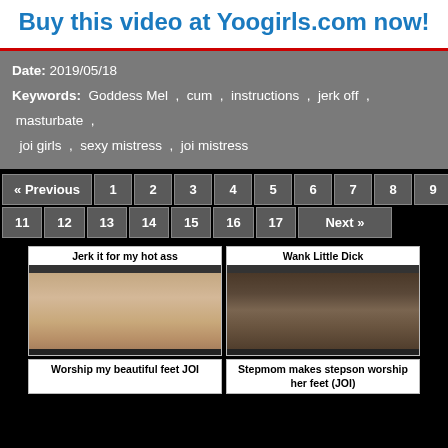Buy this video at Yoogirls.com now!
Date: 2019/05/18
Keywords: Goddess Mel , cum , instructions , jerk off , masturbate , joi girls , sexy mistress , joi mistress
« Previous  1  2  3  4  5  6  7  8  9  10
11  12  13  14  15  16  17  Next »
[Figure (photo): Thumbnail card: Jerk it for my hot ass]
[Figure (photo): Thumbnail card: Wank Little Dick]
[Figure (photo): Thumbnail card: Worship my beautiful feet JOI]
[Figure (photo): Thumbnail card: Stepmom makes stepson worship her feet (JOI)]